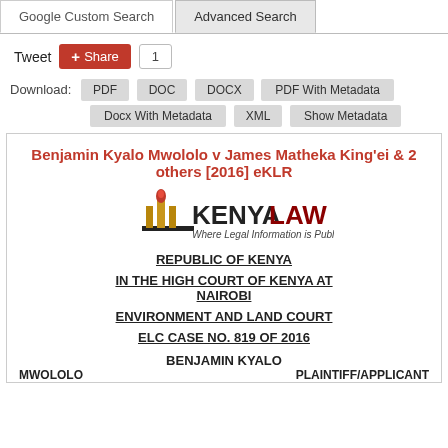Google Custom Search | Advanced Search
Tweet  Share  1
Download: PDF  DOC  DOCX  PDF With Metadata  Docx With Metadata  XML  Show Metadata
Benjamin Kyalo Mwololo v James Matheka King'ei & 2 others [2016] eKLR
[Figure (logo): Kenya Law logo with text 'KENYA LAW' and tagline 'Where Legal Information is Public Knowledge']
REPUBLIC OF KENYA
IN THE HIGH COURT OF KENYA AT NAIROBI
ENVIRONMENT AND LAND COURT
ELC CASE NO. 819 OF 2016
BENJAMIN KYALO MWOLOLO    PLAINTIFF/APPLICANT